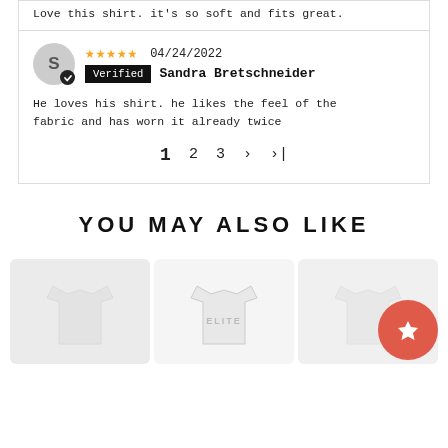Love this shirt. it's so soft and fits great.
04/24/2022 Verified Sandra Bretschneider
He loves his shirt. he likes the feel of the fabric and has worn it already twice
1   2   3   >   >|
YOU MAY ALSO LIKE
[Figure (photo): Three product thumbnail images of white t-shirts, with a red favorite/star button overlay on the right side]